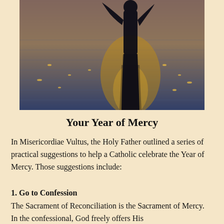[Figure (photo): A silhouette of a person standing in water with arms raised, backlit by golden sunset light reflecting on the water surface.]
Your Year of Mercy
In Misericordiae Vultus, the Holy Father outlined a series of practical suggestions to help a Catholic celebrate the Year of Mercy. Those suggestions include:
1. Go to Confession
The Sacrament of Reconciliation is the Sacrament of Mercy. In the confessional, God freely offers His